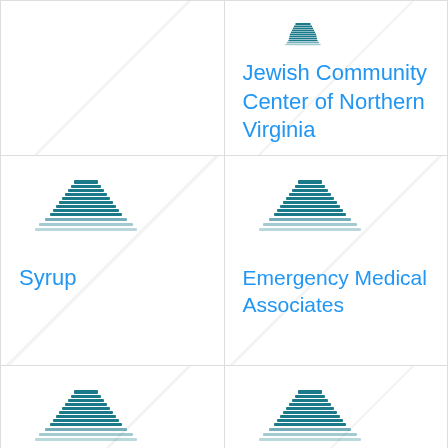[Figure (logo): Building/organization logo icon - top left cell (empty/partial)]
[Figure (logo): Building/organization logo icon for Jewish Community Center of Northern Virginia]
Jewish Community Center of Northern Virginia
[Figure (logo): Building/organization logo icon for Syrup]
Syrup
[Figure (logo): Building/organization logo icon for Emergency Medical Associates]
Emergency Medical Associates
[Figure (logo): Building/organization logo icon - bottom left cell]
[Figure (logo): Building/organization logo icon - bottom right cell]